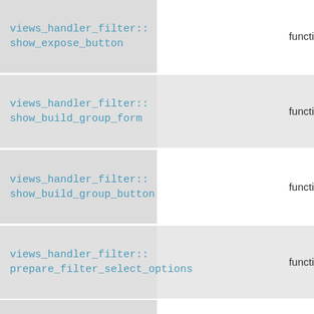| Method | Type |
| --- | --- |
| views_handler_filter::
show_expose_button | functi… |
| views_handler_filter::
show_build_group_form | functi… |
| views_handler_filter::
show_build_group_button | functi… |
| views_handler_filter::
prepare_filter_select_options | functi… |